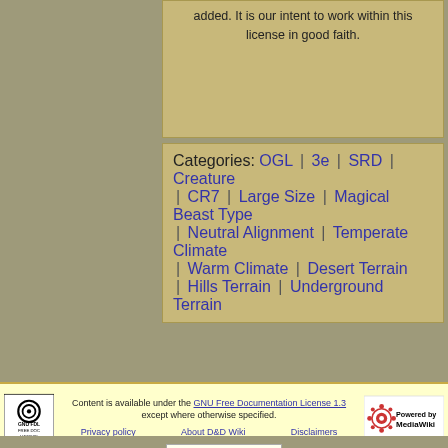added. It is our intent to work within this license in good faith.
Categories: OGL | 3e | SRD | Creature | CR7 | Large Size | Magical Beast Type | Neutral Alignment | Temperate Climate | Warm Climate | Desert Terrain | Hills Terrain | Underground Terrain
Content is available under the GNU Free Documentation License 1.3 except where otherwise specified. Privacy policy | About D&D Wiki | Disclaimers
Advertisements: